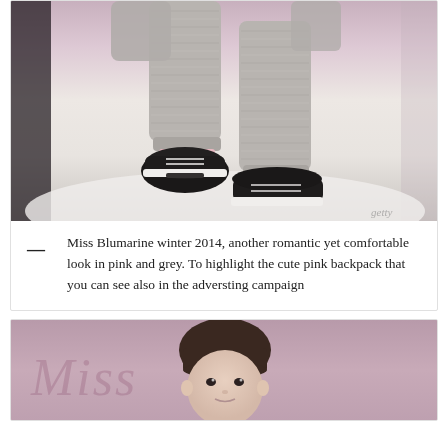[Figure (photo): Fashion runway photo showing the lower half of a model wearing grey ribbed knit pants and black leather oxford shoes, walking on a white runway with a pink/grey blurred background]
— Miss Blumarine winter 2014, another romantic yet comfortable look in pink and grey. To highlight the cute pink backpack that you can see also in the adversting campaign
[Figure (photo): Fashion photo of a young child with a brown bob haircut, facing forward, against a pink/mauve background with script watermark text]